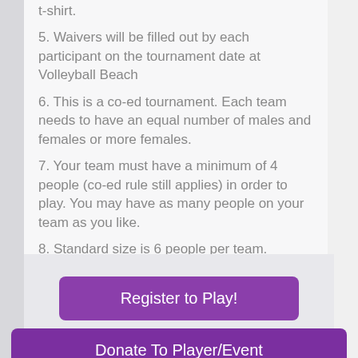t-shirt.
5. Waivers will be filled out by each participant on the tournament date at Volleyball Beach
6. This is a co-ed tournament. Each team needs to have an equal number of males and females or more females.
7. Your team must have a minimum of 4 people (co-ed rule still applies) in order to play. You may have as many people on your team as you like.
8. Standard size is 6 people per team.
[Figure (screenshot): Two purple buttons: 'Register to Play!' and 'Donate To Player/Event', with a partial third button at the bottom, on a light gray background.]